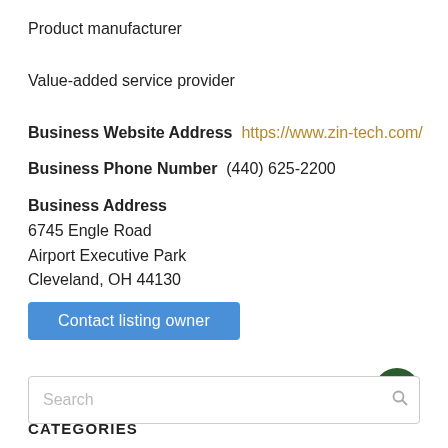Product manufacturer
Value-added service provider
Business Website Address  https://www.zin-tech.com/
Business Phone Number  (440) 625-2200
Business Address
6745 Engle Road
Airport Executive Park
Cleveland, OH 44130
Contact listing owner
Search
CATEGORIES